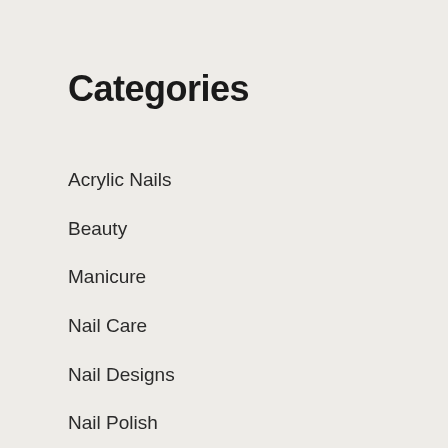Categories
Acrylic Nails
Beauty
Manicure
Nail Care
Nail Designs
Nail Polish
Pedicure